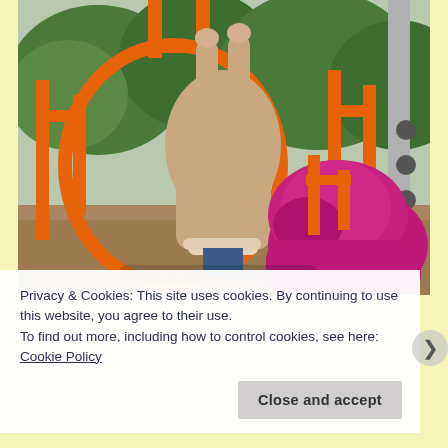[Figure (photo): Two young children on an orange playground climbing structure. One child in a beige/tan fleece jacket is hanging from an orange circular bar overhead. Another child in a bright magenta/pink hoodie is beneath them. Background shows green trees and playground equipment.]
Privacy & Cookies: This site uses cookies. By continuing to use this website, you agree to their use.
To find out more, including how to control cookies, see here: Cookie Policy
Close and accept